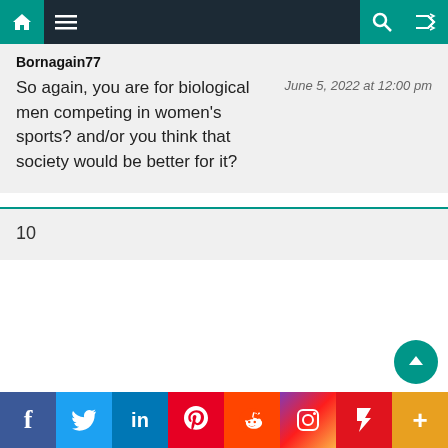Navigation bar with home, menu, search, and shuffle icons
Bornagain77
So again, you are for biological men competing in women's sports? and/or you think that society would be better for it?
June 5, 2022 at 12:00 pm
10
Social share bar: Facebook, Twitter, LinkedIn, Pinterest, Reddit, Instagram, Flipboard, More